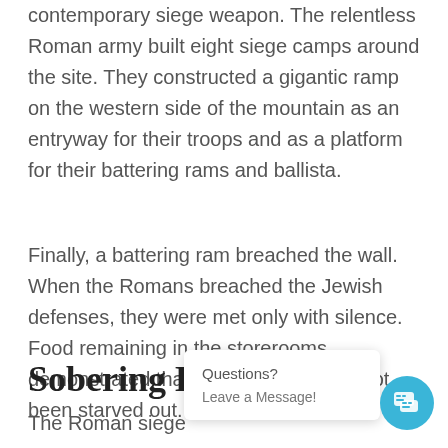contemporary siege weapon. The relentless Roman army built eight siege camps around the site. They constructed a gigantic ramp on the western side of the mountain as an entryway for their troops and as a platform for their battering rams and ballista.
Finally, a battering ram breached the wall. When the Romans breached the Jewish defenses, they were met only with silence. Food remaining in the storerooms demonstrated that the defenders had not been starved out.
Sobering E…
The Roman siege… in
Questions?
Leave a Message!